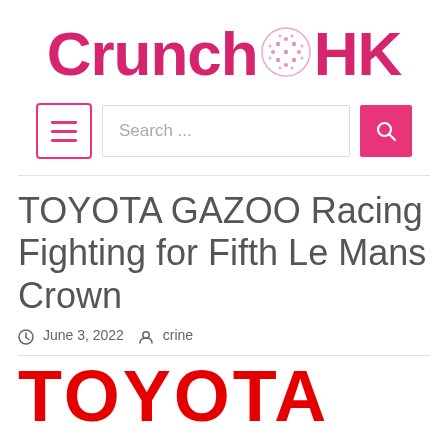CrunchHK
[Figure (logo): CrunchHK website logo with pink/magenta text and a dotted globe icon between 'Crunch' and 'HK']
[Figure (infographic): Navigation bar with hamburger menu button, search bar with placeholder text 'Search...', and pink search button with magnifying glass icon]
TOYOTA GAZOO Racing Fighting for Fifth Le Mans Crown
June 3, 2022  crine
[Figure (logo): TOYOTA red wordmark logo]